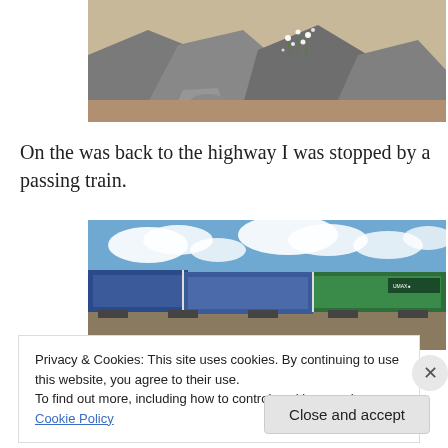[Figure (photo): Rocky outcrop with small white wildflowers growing between grey boulders and dry ground]
On the was back to the highway I was stopped by a passing train.
[Figure (photo): Train with blue and green shipping containers passing under a partly cloudy blue sky]
Privacy & Cookies: This site uses cookies. By continuing to use this website, you agree to their use.
To find out more, including how to control cookies, see here: Cookie Policy
Close and accept